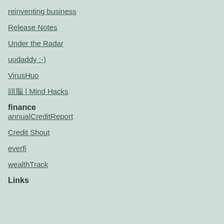reinventing business
Release Notes
Under the Radar
uudaddy :-)
VirusHuo
頭脳 | Mind Hacks
finance
annualCreditReport
Credit Shout
everfi
wealthTrack
Links